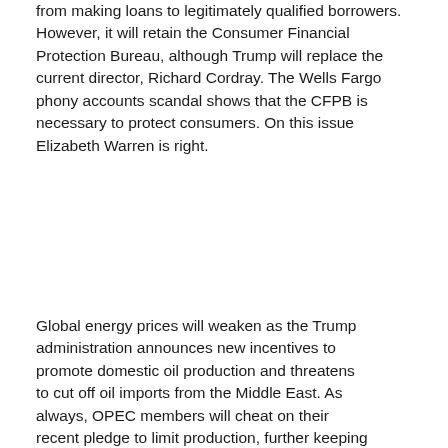from making loans to legitimately qualified borrowers. However, it will retain the Consumer Financial Protection Bureau, although Trump will replace the current director, Richard Cordray. The Wells Fargo phony accounts scandal shows that the CFPB is necessary to protect consumers. On this issue Elizabeth Warren is right.
Global energy prices will weaken as the Trump administration announces new incentives to promote domestic oil production and threatens to cut off oil imports from the Middle East. As always, OPEC members will cheat on their recent pledge to limit production, further keeping prices modest. Oil prices will average $50 a barrel or lower.
The best performing stock market in 2017 will be Russia, as the U.S. seeks common ground with Vladimir Putin on issues that concern both countries, notably terrorism and energy. Donald Trump will reach a landmark deal in which the U.S. will purchase discounted oil from Russia, giving Putin a reliable market for his oil and the U.S. a dependable...